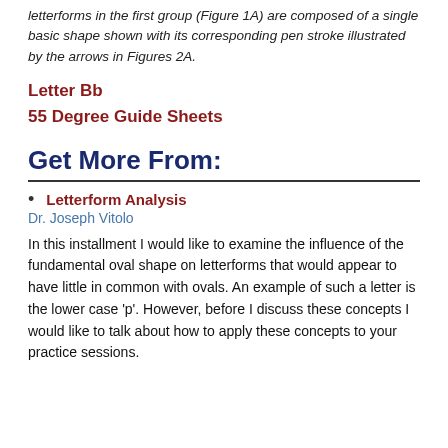letterforms in the first group (Figure 1A) are composed of a single basic shape shown with its corresponding pen stroke illustrated by the arrows in Figures 2A.
Letter Bb
55 Degree Guide Sheets
Get More From:
Letterform Analysis
Dr. Joseph Vitolo
In this installment I would like to examine the influence of the fundamental oval shape on letterforms that would appear to have little in common with ovals. An example of such a letter is the lower case 'p'. However, before I discuss these concepts I would like to talk about how to apply these concepts to your practice sessions.